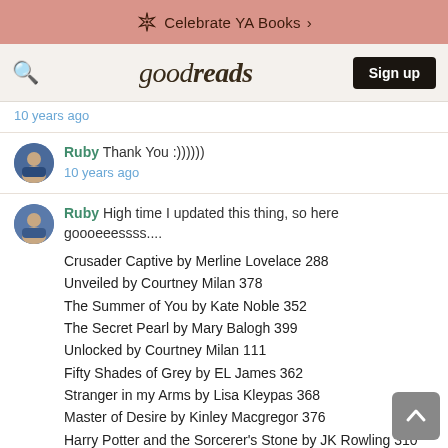Celebrate YA Books >
goodreads   Sign up
10 years ago
Ruby Thank You :))))))  10 years ago
Ruby High time I updated this thing, so here goooeeessss....
Crusader Captive by Merline Lovelace 288
Unveiled by Courtney Milan 378
The Summer of You by Kate Noble 352
The Secret Pearl by Mary Balogh 399
Unlocked by Courtney Milan 111
Fifty Shades of Grey by EL James 362
Stranger in my Arms by Lisa Kleypas 368
Master of Desire by Kinley Macgregor 376
Harry Potter and the Sorcerer's Stone by JK Rowling 310
Worth Any Price by Lisa Kleypas 388
Scandal by Carolyn Jewel 309